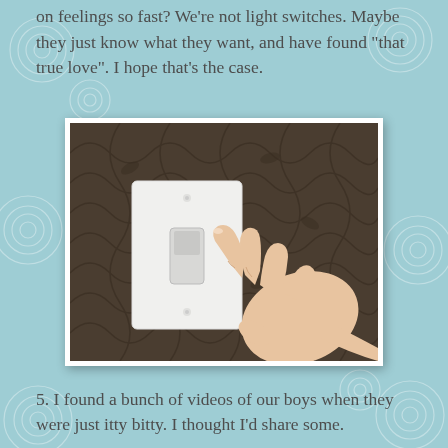on feelings so fast? We're not light switches. Maybe they just know what they want, and have found "that true love". I hope that's the case.
[Figure (photo): A hand with index finger extended pointing at a white light switch on a plate mounted on a dark brown floral-patterned wallpaper wall.]
5. I found a bunch of videos of our boys when they were just itty bitty. I thought I'd share some.